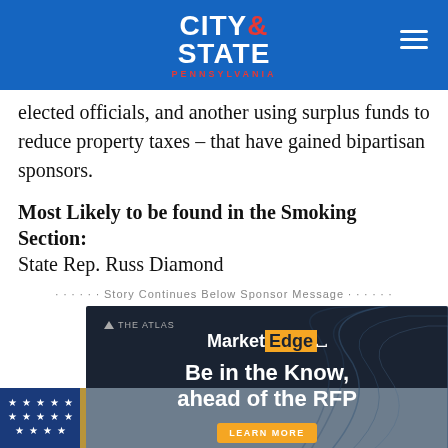City & State Pennsylvania
elected officials, and another using surplus funds to reduce property taxes – that have gained bipartisan sponsors.
Most Likely to be found in the Smoking Section: State Rep. Russ Diamond
· · · · · · Story Continues Below Sponsor Message · · · · · ·
[Figure (other): Advertisement for The Atlas MarketEdge: 'Be in the Know, ahead of the RFP' with a Learn More button on dark background with wave graphic]
[Figure (photo): Partial photo showing a person near American flags]